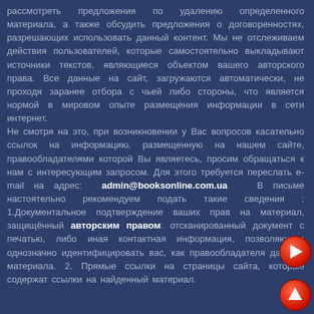рассмотреть предложения по удалению определенного материала, а также обсудить предложения о договоренностях, разрешающих использовать данный контент. Мы не отслеживаем действия пользователей, которые самостоятельно выкладывают источники текстов, являющиеся объектом вашего авторского права. Все данные на сайт, загружаются автоматически, не проходя заранее отбора с чьей либо стороны, что является нормой в мировом опыте размещения информации в сети интернет. Не смотря на это, при возникновении у Вас вопросов касательно ссылок на информацию, размещенную на нашем сайте, правообладателями которой Вы являетесь, просим обращаться к нам с интересующим запросом. Для этого требуется переслать e-mail на адрес: admin@booksonline.com.ua В письме настоятельно рекомендуем подать такие сведения : 1.Документальное подтверждение ваших прав на материал, защищённый авторским правом: отсканированный документ с печатью, либо иная контактная информация, позволяющая однозначно идентифицировать вас, как правообладателя данного материала. 2. Прямые ссылки на страницы сайта, которые содержат ссылки на найденный материал.
[Figure (other): Red circular navigation button with right arrow (next page)]
[Figure (other): Red circular navigation button with up arrow (scroll up)]